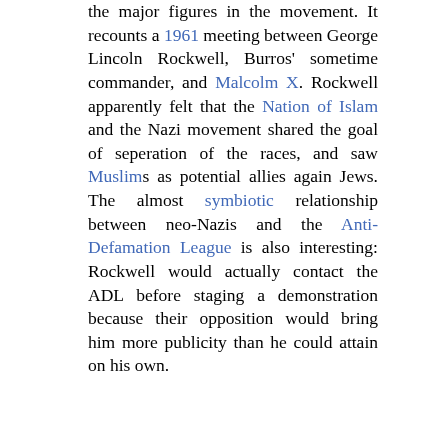the major figures in the movement. It recounts a 1961 meeting between George Lincoln Rockwell, Burros' sometime commander, and Malcolm X. Rockwell apparently felt that the Nation of Islam and the Nazi movement shared the goal of seperation of the races, and saw Muslims as potential allies again Jews. The almost symbiotic relationship between neo-Nazis and the Anti-Defamation League is also interesting: Rockwell would actually contact the ADL before staging a demonstration because their opposition would bring him more publicity than he could attain on his own.